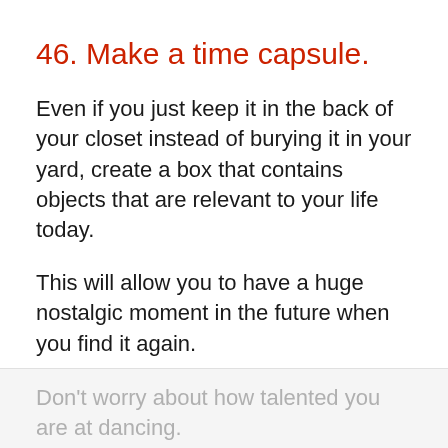46. Make a time capsule.
Even if you just keep it in the back of your closet instead of burying it in your yard, create a box that contains objects that are relevant to your life today.
This will allow you to have a huge nostalgic moment in the future when you find it again.
47. Dance.
Don't worry about how talented you are at dancing.